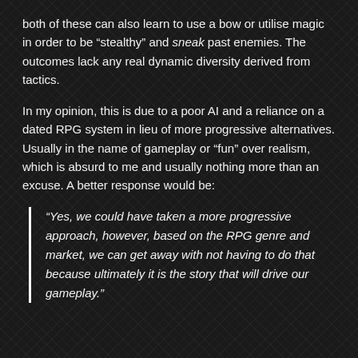both of these can also learn to use a bow or utilise magic in order to be “stealthy” and sneak past enemies. The outcomes lack any real dynamic diversity derived from tactics.
In my opinion, this is due to a poor AI and a reliance on a dated RPG system in lieu of more progressive alternatives. Usually in the name of gameplay or “fun” over realism, which is absurd to me and usually nothing more than an excuse. A better response would be:
“Yes, we could have taken a more progressive approach, however, based on the RPG genre and market, we can get away with not having to do that because ultimately it is the story that will drive our gameplay.”